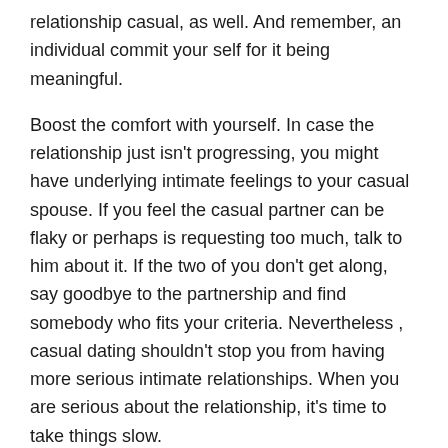relationship casual, as well. And remember, an individual commit your self for it being meaningful.
Boost the comfort with yourself. In case the relationship just isn't progressing, you might have underlying intimate feelings to your casual spouse. If you feel the casual partner can be flaky or perhaps is requesting too much, talk to him about it. If the two of you don't get along, say goodbye to the partnership and find somebody who fits your criteria. Nevertheless , casual dating shouldn't stop you from having more serious intimate relationships. When you are serious about the relationship, it's time to take things slow.
End up being respectful. Becoming friendly and considerate towards the other person is very important. For anyone who is not, therefore you're not currently being considerate and being a cool. Remember that many people are still crucial, even those who aren't within a romantic relationship. If you are too careless and